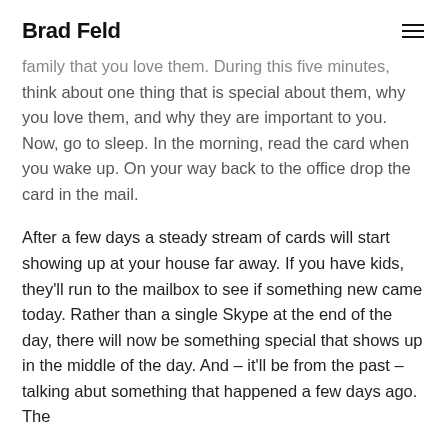Brad Feld
family that you love them. During this five minutes, think about one thing that is special about them, why you love them, and why they are important to you. Now, go to sleep. In the morning, read the card when you wake up. On your way back to the office drop the card in the mail.
After a few days a steady stream of cards will start showing up at your house far away. If you have kids, they'll run to the mailbox to see if something new came today. Rather than a single Skype at the end of the day, there will now be something special that shows up in the middle of the day. And – it'll be from the past – talking abut something that happened a few days ago. The